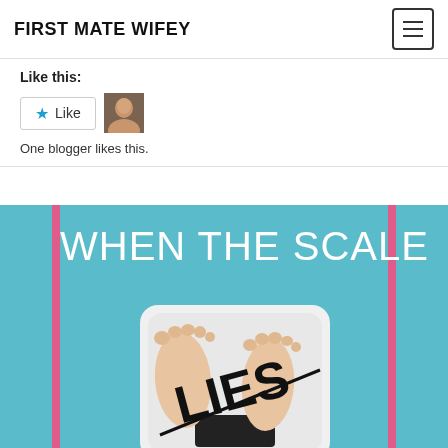FIRST MATE WIFEY
Like this:
One blogger likes this.
[Figure (photo): Blog featured image with text 'WHEN THE SCALE LIES' overlaid on a photo of feet standing on a bathroom scale. Bottom text reads firstmatewifey.com]